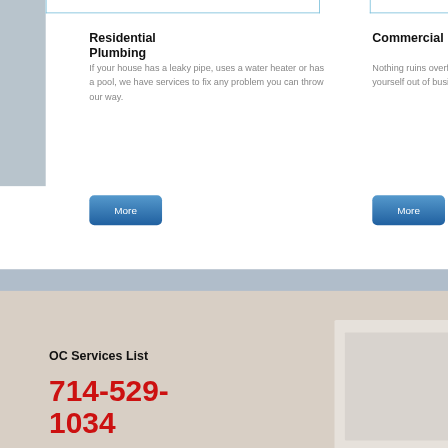Residential Plumbing
If your house has a leaky pipe, uses a water heater or has a pool, we have services to fix any problem you can throw our way.
[Figure (other): Blue 'More' button for Residential Plumbing section]
Commercial
Nothing ruins overflow or a yourself out of business with
[Figure (other): Blue 'More' button for Commercial section]
OC Services List
714-529-1034